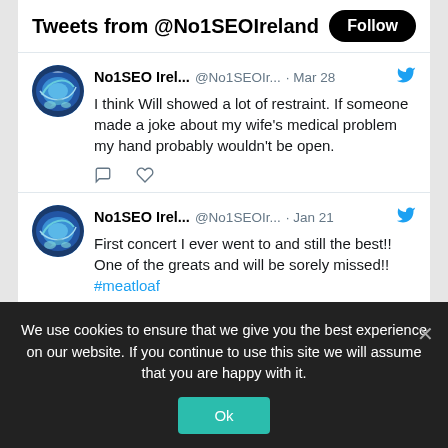Tweets from @No1SEOIreland
No1SEO Irel... @No1SEOIr... · Mar 28
I think Will showed a lot of restraint. If someone made a joke about my wife's medical problem my hand probably wouldn't be open.
No1SEO Irel... @No1SEOIr... · Jan 21
First concert I ever went to and still the best!! One of the greats and will be sorely missed!! #meatloaf
We use cookies to ensure that we give you the best experience on our website. If you continue to use this site we will assume that you are happy with it.